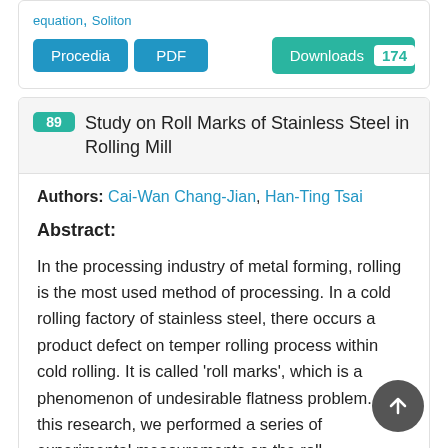equation, Soliton
Procedia  PDF  Downloads 174
89 Study on Roll Marks of Stainless Steel in Rolling Mill
Authors: Cai-Wan Chang-Jian, Han-Ting Tsai
Abstract:
In the processing industry of metal forming, rolling is the most used method of processing. In a cold rolling factory of stainless steel, there occurs a product defect on temper rolling process within cold rolling. It is called 'roll marks', which is a phenomenon of undesirable flatness problem. In this research, we performed a series of experimental measurements on the roll